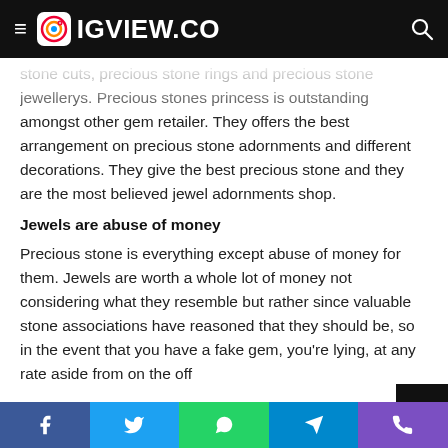BIGVIEW.CO
stone cuts, precious stone rings and precious stone jewellerys. Precious stones princess is outstanding amongst other gem retailer. They offers the best arrangement on precious stone adornments and different decorations. They give the best precious stone and they are the most believed jewel adornments shop.
Jewels are abuse of money
Precious stone is everything except abuse of money for them. Jewels are worth a whole lot of money not considering what they resemble but rather since valuable stone associations have reasoned that they should be, so in the event that you have a fake gem, you're lying, at any rate aside from on the off
Facebook Twitter WhatsApp Telegram Phone